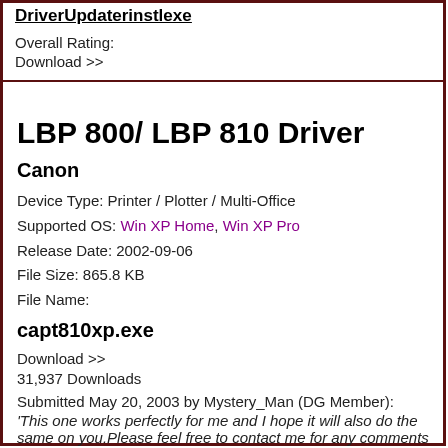DriverUpdaterinstlexe
Overall Rating:
Download >>
LBP 800/ LBP 810 Driver
Canon
Device Type: Printer / Plotter / Multi-Office
Supported OS: Win XP Home, Win XP Pro
Release Date: 2002-09-06
File Size: 865.8 KB
File Name:
capt810xp.exe
Download >>
31,937 Downloads
Submitted May 20, 2003 by Mystery_Man (DG Member):
'This one works perfectly for me and I hope it will also do the same on you.Please feel free to contact me for any comments